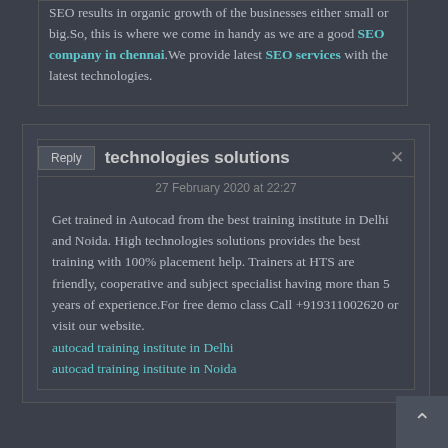SEO results in organic growth of the businesses either small or big.So, this is where we come in handy as we are a good SEO company in chennai.We provide latest SEO services with the latest technologies.
technologies solutions
27 February 2020 at 22:27
Get trained in Autocad from the best training institute in Delhi and Noida. High technologies solutions provides the best training with 100% placement help. Trainers at HTS are friendly, cooperative and subject specialist having more than 5 years of experience.For free demo class Call +919311002620 or visit our website. autocad training institute in Delhi autocad training institute in Noida